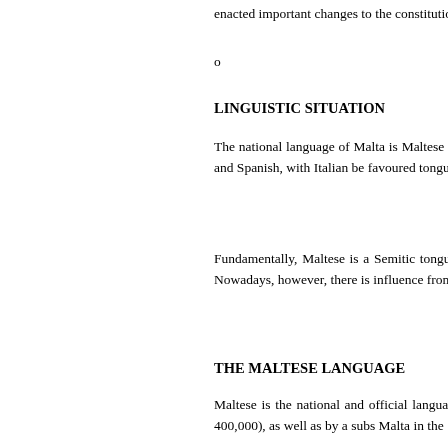enacted important changes to the constitution
o
LINGUISTIC SITUATION
The national language of Malta is Maltese (M Malta together with English and the Maltese S French, German and Spanish, with Italian be favoured tongue, especially by the cultured cl tongue.
Fundamentally, Maltese is a Semitic tongue, unlike other Semitic languages, Maltese is wri Semitic sounds. Nowadays, however, there is influence from our succession of (Southern) Eu
THE MALTESE LANGUAGE
Maltese is the national and official language o official languages of the European Union. M (approximately 400,000), as well as by a subs Malta in the 1950s and 1960s, establishing co
The origins of Maltese date back to the Arabic